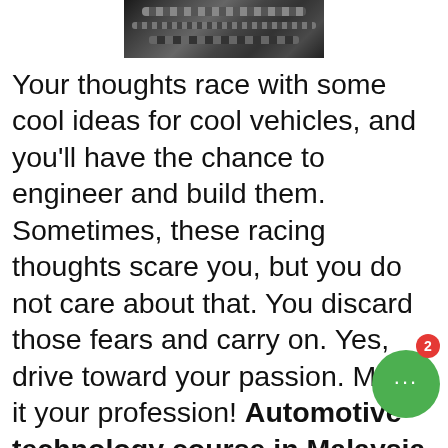[Figure (photo): Close-up photo of automotive engine parts, chains and mechanical components, dark metallic tones]
Your thoughts race with some cool ideas for cool vehicles, and you’ll have the chance to engineer and build them. Sometimes, these racing thoughts scare you, but you do not care about that. You discard those fears and carry on. Yes, drive toward your passion. Make it your profession! Automotive technology course in Malaysia If you are interested in servicing cars and vehicles, the diploma in automotive technology will fulfill your needs and goals by giving you the abilities and skills needed to work in this biggest industry. This diploma in automotive technology refines your knowledge so that you can analyze, diagnose, design, manufacture, and modify car electrical and mechanical systems.